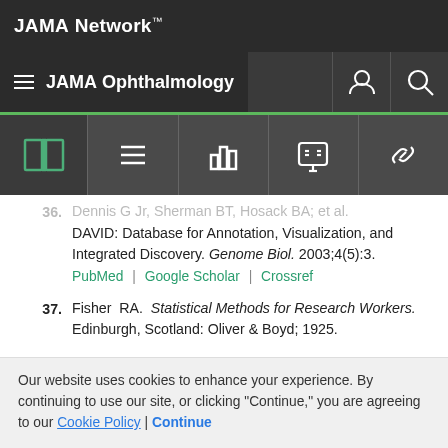JAMA Network™
≡ JAMA Ophthalmology
36. Dennis G Jr, Sherman BT, Hosack DA, et al. DAVID: Database for Annotation, Visualization, and Integrated Discovery. Genome Biol. 2003;4(5):3. PubMed | Google Scholar | Crossref
37. Fisher RA. Statistical Methods for Research Workers. Edinburgh, Scotland: Oliver & Boyd; 1925.
38. Schaeffel F, Troilo D, Wallman J, Howland HC. Developing eyes that lack accommodation grow to
Our website uses cookies to enhance your experience. By continuing to use our site, or clicking "Continue," you are agreeing to our Cookie Policy | Continue